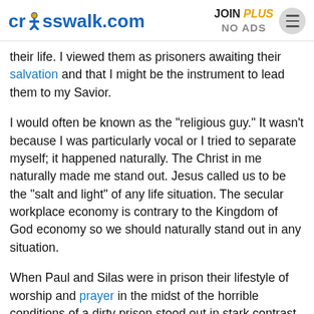crosswalk.com | JOIN PLUS NO ADS
their life. I viewed them as prisoners awaiting their salvation and that I might be the instrument to lead them to my Savior.
I would often be known as the "religious guy." It wasn't because I was particularly vocal or I tried to separate myself; it happened naturally. The Christ in me naturally made me stand out. Jesus called us to be the "salt and light" of any life situation. The secular workplace economy is contrary to the Kingdom of God economy so we should naturally stand out in any situation.
When Paul and Silas were in prison their lifestyle of worship and prayer in the midst of the horrible conditions of a dirty prison stood out in stark contrast to their circumstances. They didn't pray and sing to impress their cellmates, they simply did what was natural to